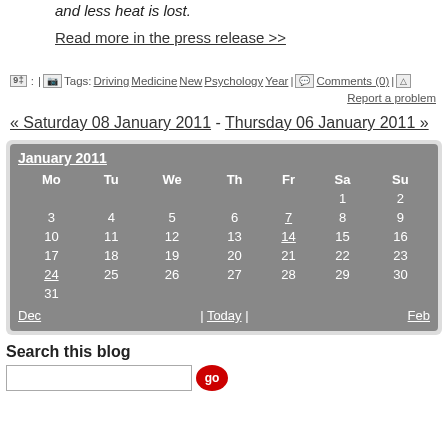and less heat is lost.
Read more in the press release >>
Tags: Driving Medicine New Psychology Year | Comments (0) | Report a problem
« Saturday 08 January 2011 - Thursday 06 January 2011 »
| Mo | Tu | We | Th | Fr | Sa | Su |
| --- | --- | --- | --- | --- | --- | --- |
|  |  |  |  |  | 1 | 2 |
| 3 | 4 | 5 | 6 | 7 | 8 | 9 |
| 10 | 11 | 12 | 13 | 14 | 15 | 16 |
| 17 | 18 | 19 | 20 | 21 | 22 | 23 |
| 24 | 25 | 26 | 27 | 28 | 29 | 30 |
| 31 |  |  |  |  |  |  |
Search this blog